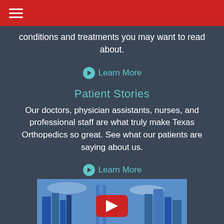conditions and treatments you may want to read about.
Learn More
Patient Stories
Our doctors, physician assistants, nurses, and professional staff are what truly make Texas Orthopedics so great. See what our patients are saying about us.
Learn More
Why Choose TX Ortho
[Figure (photo): Video thumbnail showing Austin, TX skyline with buildings and blue sky, overlaid with a YouTube play button icon in red and white]